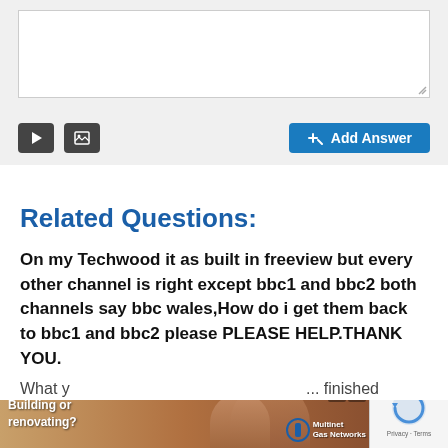[Figure (screenshot): Textarea input field with resize handle, toolbar with video and image icons, and blue Add Answer button]
Related Questions:
On my Techwood it as built in freeview but every other channel is right except bbc1 and bbc2 both channels say bbc wales,How do i get them back to bbc1 and bbc2 please PLEASE HELP.THANK YOU.
What you need to know is that the T...
[Figure (screenshot): Bottom advertisement banner for Multinet Gas Networks - Building or renovating?]